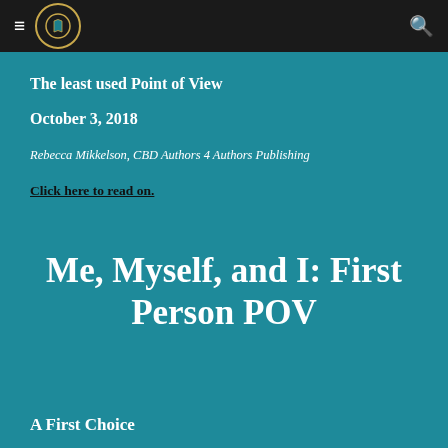≡ [logo] 🔍
The least used Point of View
October 3, 2018
Rebecca Mikkelson, CBD Authors 4 Authors Publishing
Click here to read on.
Me, Myself, and I: First Person POV
A First Choice